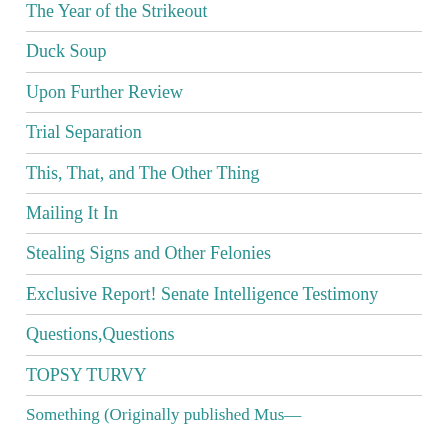The Year of the Strikeout
Duck Soup
Upon Further Review
Trial Separation
This, That, and The Other Thing
Mailing It In
Stealing Signs and Other Felonies
Exclusive Report! Senate Intelligence Testimony
Questions,Questions
TOPSY TURVY
Something (Originally published Mus—…)